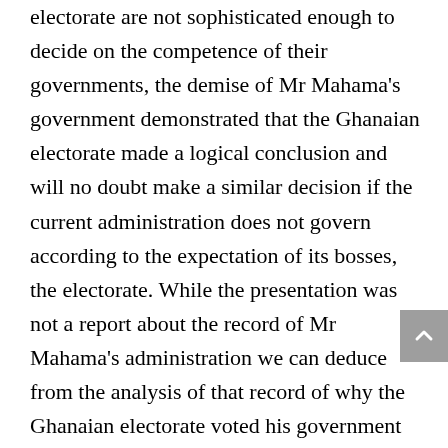electorate are not sophisticated enough to decide on the competence of their governments, the demise of Mr Mahama's government demonstrated that the Ghanaian electorate made a logical conclusion and will no doubt make a similar decision if the current administration does not govern according to the expectation of its bosses, the electorate. While the presentation was not a report about the record of Mr Mahama's administration we can deduce from the analysis of that record of why the Ghanaian electorate voted his government out of power and the challenge he faces getting back in government. Under